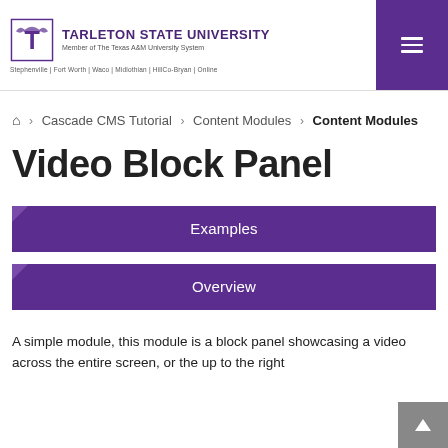Tarleton State University — Member of The Texas A&M University System — Stephenville | Fort Worth | Waco | Midlothian | HillCo-Bryan | Online
🏠 > Cascade CMS Tutorial > Content Modules > Content Modules
Video Block Panel
Examples
Overview
A simple module, this module is a block panel showcasing a video across the entire screen, or the up to the right